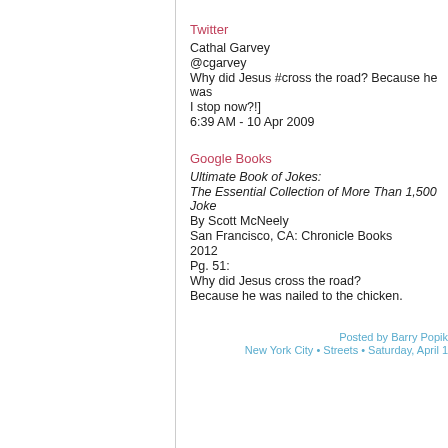Twitter
Cathal Garvey
@cgarvey
Why did Jesus #cross the road? Because he was I stop now?!]
6:39 AM - 10 Apr 2009
Google Books
Ultimate Book of Jokes:
The Essential Collection of More Than 1,500 Joke
By Scott McNeely
San Francisco, CA: Chronicle Books
2012
Pg. 51:
Why did Jesus cross the road?
Because he was nailed to the chicken.
Posted by Barry Popik New York City • Streets • Saturday, April 1